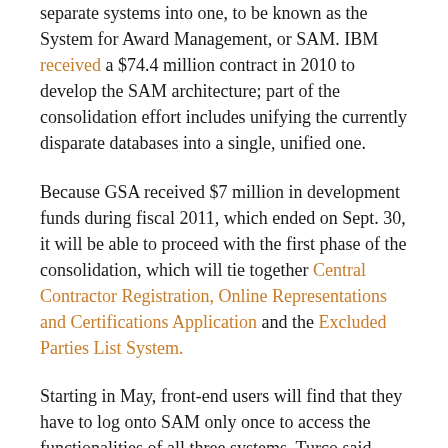separate systems into one, to be known as the System for Award Management, or SAM. IBM received a $74.4 million contract in 2010 to develop the SAM architecture; part of the consolidation effort includes unifying the currently disparate databases into a single, unified one.
Because GSA received $7 million in development funds during fiscal 2011, which ended on Sept. 30, it will be able to proceed with the first phase of the consolidation, which will tie together Central Contractor Registration, Online Representations and Certifications Application and the Excluded Parties List System.
Starting in May, front-end users will find that they have to log onto SAM only once to access the functionalities of all three systems, Turco said.
However, a request for $15 million in development, modernization and enhancement money for the current fiscal year has bumped up against spending constraints;